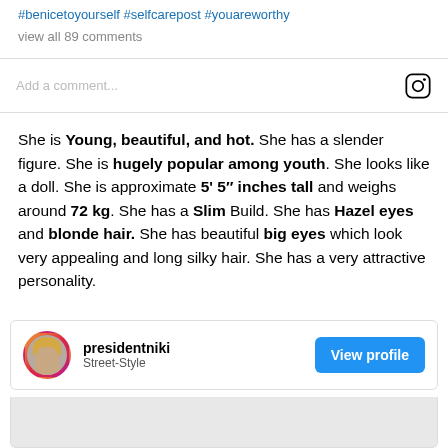#benicetoyourself #selfcarepost #youareworthy
view all 89 comments
Add a comment...
She is Young, beautiful, and hot. She has a slender figure. She is hugely popular among youth. She looks like a doll. She is approximate 5' 5″ inches tall and weighs around 72 kg. She has a Slim Build. She has Hazel eyes and blonde hair. She has beautiful big eyes which look very appealing and long silky hair. She has a very attractive personality.
presidentniki
Street-Style